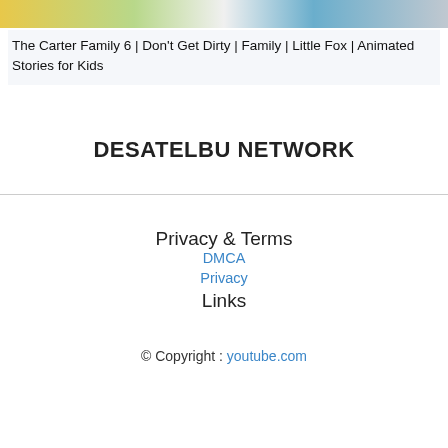[Figure (screenshot): Colorful animated thumbnail banner at the top of a webpage, showing a cartoon family scene with yellow, green, blue and grey tones.]
The Carter Family 6 | Don't Get Dirty | Family | Little Fox | Animated Stories for Kids
DESATELBU NETWORK
Privacy & Terms
DMCA
Privacy
Links
© Copyright : youtube.com